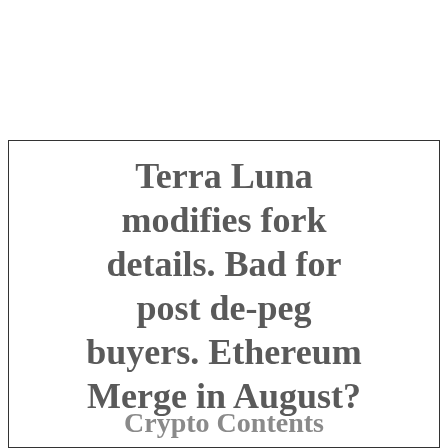Terra Luna modifies fork details. Bad for post de-peg buyers. Ethereum Merge in August?
Crypto Contents